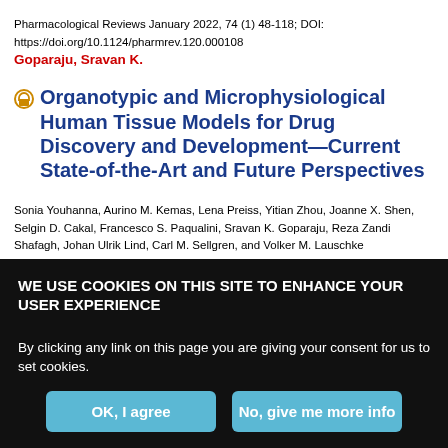Pharmacological Reviews January 2022, 74 (1) 48-118; DOI: https://doi.org/10.1124/pharmrev.120.000108
Goparaju, Sravan K.
Organotypic and Microphysiological Human Tissue Models for Drug Discovery and Development—Current State-of-the-Art and Future Perspectives
Sonia Youhanna, Aurino M. Kemas, Lena Preiss, Yitian Zhou, Joanne X. Shen, Selgin D. Cakal, Francesco S. Paqualini, Sravan K. Goparaju, Reza Zandi Shafagh, Johan Ulrik Lind, Carl M. Sellgren, and Volker M. Lauschke
Gunnar Schulte, ASSOCIATE EDITOR
WE USE COOKIES ON THIS SITE TO ENHANCE YOUR USER EXPERIENCE
By clicking any link on this page you are giving your consent for us to set cookies.
OK, I agree
No, give me more info